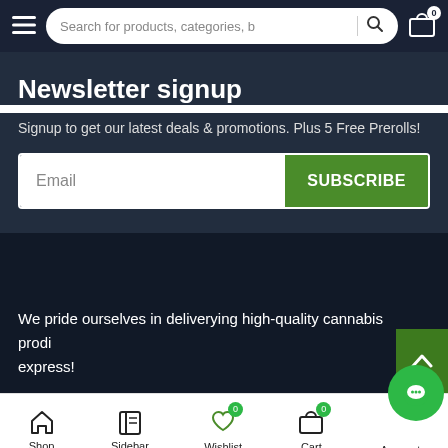Search for products, categories, b
Newsletter signup
Signup to get our latest deals & promotions. Plus 5 Free Prerolls!
Email | SUBSCRIBE
We pride ourselves in deliverying high-quality cannabis produ... express!
Shop | Sidebar | Wishlist 0 | Cart 0 | Account